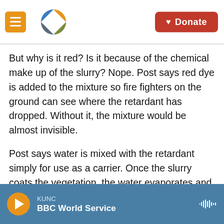KUNC logo and Donate button header
But why is it red? Is it because of the chemical make up of the slurry? Nope. Post says red dye is added to the mixture so fire fighters on the ground can see where the retardant has dropped. Without it, the mixture would be almost invisible.
Post says water is mixed with the retardant simply for use as a carrier. Once the slurry coats the vegetation, the water evaporates and the mixture stays. If a large rain storm occurs, the slurry washes away leaving behind fertilizer that actually helps restore the land around the fire.
KUNC | BBC World Service